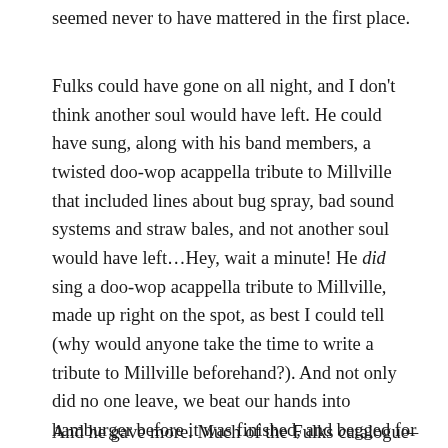seemed never to have mattered in the first place.
Fulks could have gone on all night, and I don't think another soul would have left. He could have sung, along with his band members, a twisted doo-wop acappella tribute to Millville that included lines about bug spray, bad sound systems and straw bales, and not another soul would have left…Hey, wait a minute! He did sing a doo-wop acappella tribute to Millville, made up right on the spot, as best I could tell (why would anyone take the time to write a tribute to Millville beforehand?). And not only did no one leave, we beat our hands into hamburger before it was finished, and begged for more.
And he gave more. Much of the Fulks catalogue–or